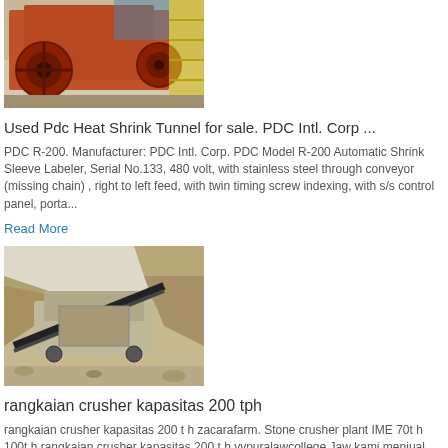[Figure (photo): Orange industrial jaw crusher / heat shrink tunnel machine at a facility with yellow scaffolding in the background]
Used Pdc Heat Shrink Tunnel for sale. PDC Intl. Corp ...
PDC R-200. Manufacturer: PDC Intl. Corp. PDC Model R-200 Automatic Shrink Sleeve Labeler, Serial No.133, 480 volt, with stainless steel through conveyor (missing chain) , right to left feed, with twin timing screw indexing, with s/s control panel, porta...
Read More
[Figure (photo): Mobile jaw crusher or stone crusher machine positioned in an open quarry excavation site with rocky terrain]
rangkaian crusher kapasitas 200 tph
rangkaian crusher kapasitas 200 t h zacarafarm. Stone crusher plant IME 70t h 100t h rangkaian crusher kapasitas 200 t h vvpuralawcollege Jaw kami menjual Stone Crusher kapasitas 70t h s d:IME Lab jaw crusher